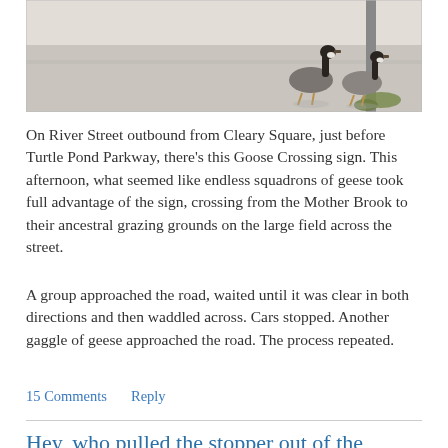[Figure (photo): Two Canada geese walking on a sidewalk or road near a utility pole, with a street visible in the background. Black and white tones suggest overexposed outdoor daylight photo.]
On River Street outbound from Cleary Square, just before Turtle Pond Parkway, there's this Goose Crossing sign. This afternoon, what seemed like endless squadrons of geese took full advantage of the sign, crossing from the Mother Brook to their ancestral grazing grounds on the large field across the street.
A group approached the road, waited until it was clear in both directions and then waddled across. Cars stopped. Another gaggle of geese approached the road. The process repeated.
15 Comments   Reply
Hey, who pulled the stopper out of the Mother Brook?